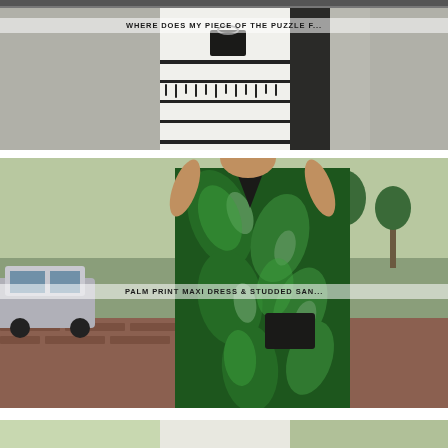[Figure (photo): Woman wearing a white maxi dress with black tassel/fringe trim details, holding a black handbag, standing in front of a dark door and white/grey house exterior. Text overlay reads: WHERE DOES MY PIECE OF THE PUZZLE F...]
WHERE DOES MY PIECE OF THE PUZZLE F...
[Figure (photo): Woman wearing a green tropical palm print maxi wrap dress with spaghetti straps, carrying a black clutch, standing on a brick sidewalk with trees and parked cars in background. Text overlay reads: PALM PRINT MAXI DRESS & STUDDED SAN...]
PALM PRINT MAXI DRESS & STUDDED SAN...
[Figure (photo): Partial view of a third fashion photo at the bottom of the page, cropped.]